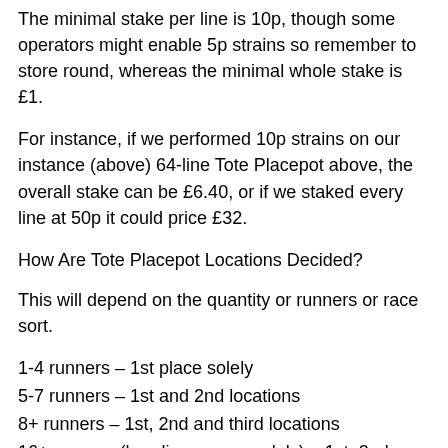The minimal stake per line is 10p, though some operators might enable 5p strains so remember to store round, whereas the minimal whole stake is £1.
For instance, if we performed 10p strains on our instance (above) 64-line Tote Placepot above, the overall stake can be £6.40, or if we staked every line at 50p it could price £32.
How Are Tote Placepot Locations Decided?
This will depend on the quantity or runners or race sort.
1-4 runners – 1st place solely
5-7 runners – 1st and 2nd locations
8+ runners – 1st, 2nd and third locations
16+ runners (handicap races solely) – 1st, 2nd, third and 4th locations
How Do I Work Out My Tote Placepot Winnings?